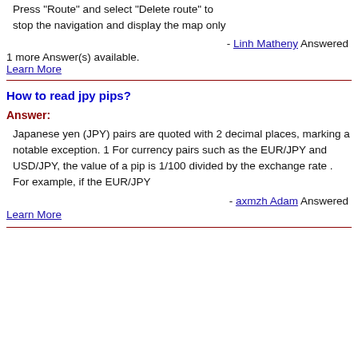Press "Route" and select "Delete route" to stop the navigation and display the map only
- Linh Matheny Answered
1 more Answer(s) available.
Learn More
How to read jpy pips?
Answer:
Japanese yen (JPY) pairs are quoted with 2 decimal places, marking a notable exception. 1 For currency pairs such as the EUR/JPY and USD/JPY, the value of a pip is 1/100 divided by the exchange rate . For example, if the EUR/JPY
- axmzh Adam Answered
Learn More